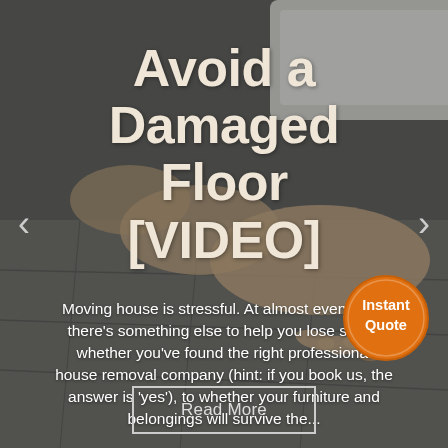[Figure (photo): Background photo of a person's hand on a tiled/stone floor, with a white appliance or furniture in the upper right, dim moody lighting]
Avoid a Damaged Floor [VIDEO]
Moving house is stressful. At almost every turn, there's something else to help you lose sleep: whether you've found the right professional house removal company (hint: if you book us, the answer is 'yes'), to whether your furniture and belongings will survive the...
[Figure (illustration): Orange circular badge/button with text 'Instant Quote']
Read More